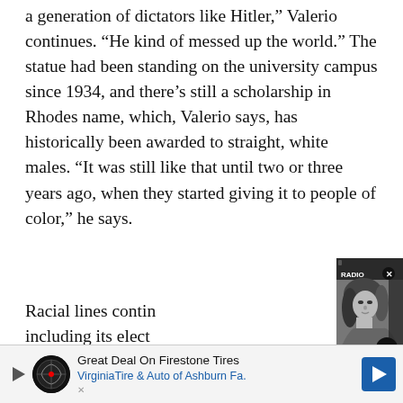a generation of dictators like Hitler," Valerio continues. "He kind of messed up the world." The statue had been standing on the university campus since 1934, and there's still a scholarship in Rhodes name, which, Valerio says, has historically been awarded to straight, white males. "It was still like that until two or three years ago, when they started giving it to people of color," he says.
Racial lines continu... including its elect... predominantly wh... for POC [people of... you either fit the m... basically." For Vale... the city, that mean...
[Figure (photo): Black and white photo of a person with long hair, partially obscured by a popup card overlay. Shows a music-related popup with close button (X) and navigation arrow.]
Report: Feist will donate proceeds from merch sales at
[Figure (infographic): Advertisement bar at bottom: Great Deal On Firestone Tires - VirginiaTire & Auto of Ashburn Fa. with logo icon and navigation arrow icon.]